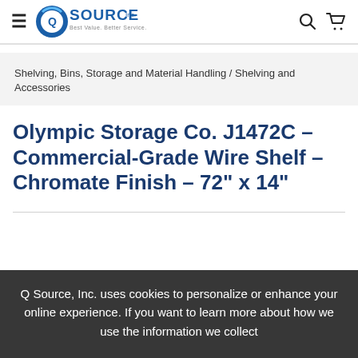Q SOURCE Inc. Best Value. Better Service.
Shelving, Bins, Storage and Material Handling / Shelving and Accessories
Olympic Storage Co. J1472C - Commercial-Grade Wire Shelf - Chromate Finish - 72" x 14"
Q Source, Inc. uses cookies to personalize or enhance your online experience. If you want to learn more about how we use the information we collect